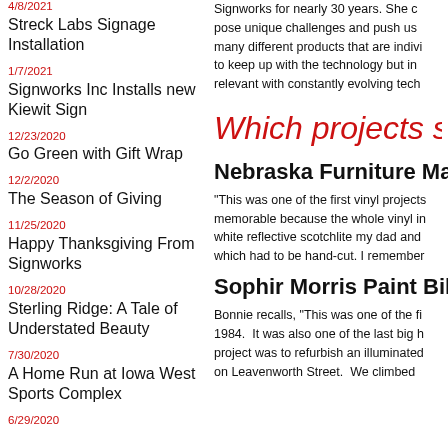Peppi is Back!
Signworks for nearly 30 years. She c... pose unique challenges and push us... many different products that are indivi... to keep up with the technology but in... relevant with constantly evolving tech...
4/8/2021 Streck Labs Signage Installation
1/7/2021 Signworks Inc Installs new Kiewit Sign
Which projects su
12/23/2020 Go Green with Gift Wrap
Nebraska Furniture Ma...
12/2/2020 The Season of Giving
“This was one of the first vinyl projects... memorable because the whole vinyl i... white reflective scotchlite my dad and... which had to be hand-cut. I remember...
11/25/2020 Happy Thanksgiving From Signworks
10/28/2020 Sterling Ridge: A Tale of Understated Beauty
Sophir Morris Paint Bill...
7/30/2020 A Home Run at Iowa West Sports Complex
Bonnie recalls, “This was one of the fi... 1984.  It was also one of the last big h... project was to refurbish an illuminated... on Leavenworth Street.  We climbed...
6/29/2020